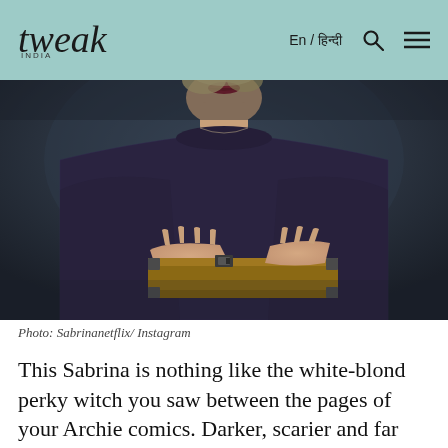tweak india | En / हिन्दी
[Figure (photo): A woman with blonde hair and red lips wearing a dark knit sweater, holding a wooden box with metal clasps, photographed from chin to waist in a moody dark setting.]
Photo: Sabrinanetflix/ Instagram
This Sabrina is nothing like the white-blond perky witch you saw between the pages of your Archie comics. Darker, scarier and far more